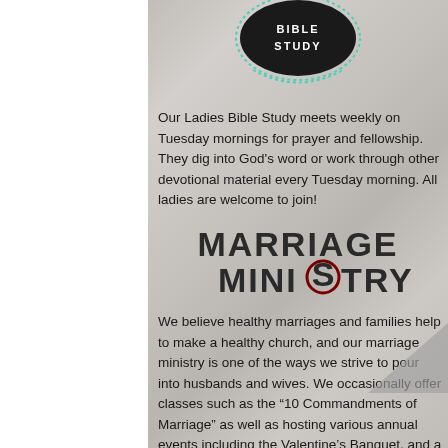BIBLE STUDY
Our Ladies Bible Study meets weekly on Tuesday mornings for prayer and fellowship. They dig into God's word or work through other devotional material every Tuesday morning. All ladies are welcome to join!
MARRIAGE MINISTRY
We believe healthy marriages and families help to make a healthy church, and our marriage ministry is one of the ways we strive to pour into husbands and wives. We occasionally offer classes such as the “10 Commandments of Marriage” as well as hosting various annual events including the Valentine’s Banquet, and a Fall Marriage Seminar.